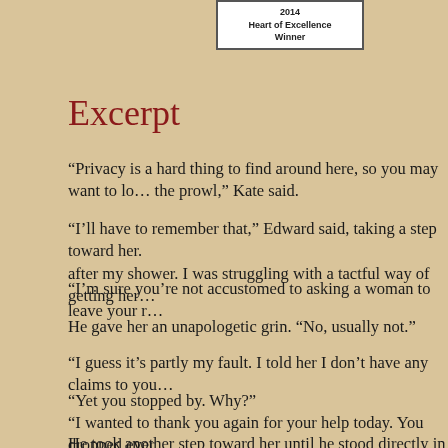[Figure (other): Award badge: 2014 Heart of Excellence Winner]
Excerpt
“Privacy is a hard thing to find around here, so you may want to lo… the prowl,” Kate said.
“I’ll have to remember that,” Edward said, taking a step toward her. after my shower. I was struggling with a tactful way of getting her…
“I’m sure you’re not accustomed to asking a woman to leave your r…
He gave her an unapologetic grin. “No, usually not.”
“I guess it’s partly my fault. I told her I don’t have any claims to you…
“Yet you stopped by. Why?”
“I wanted to thank you again for your help today. You dropped ever…
He took another step toward her until he stood directly in front of h…
She nodded in acknowledgement, not sure she could trust her voice…